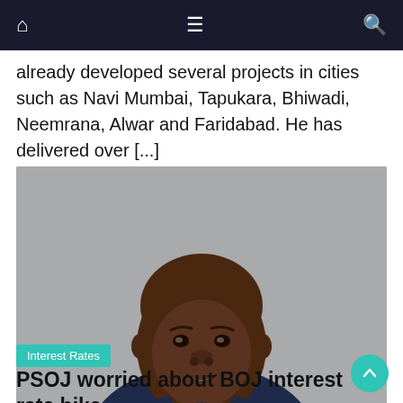Navigation bar with home, menu, and search icons
already developed several projects in cities such as Navi Mumbai, Tapukara, Bhiwadi, Neemrana, Alwar and Faridabad. He has delivered over [...]
[Figure (photo): Professional headshot of a Black man in a dark navy suit and white shirt, smiling slightly, against a grey background.]
Interest Rates
PSOJ worried about BOJ interest rate hike